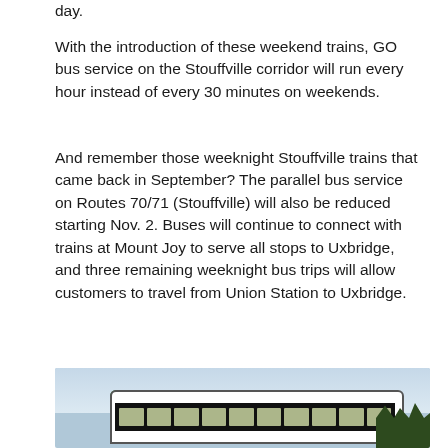day.
With the introduction of these weekend trains, GO bus service on the Stouffville corridor will run every hour instead of every 30 minutes on weekends.
And remember those weeknight Stouffville trains that came back in September? The parallel bus service on Routes 70/71 (Stouffville) will also be reduced starting Nov. 2. Buses will continue to connect with trains at Mount Joy to serve all stops to Uxbridge, and three remaining weeknight bus trips will allow customers to travel from Union Station to Uxbridge.
[Figure (photo): A GO Transit bus photographed from the side, showing the green stripe along the top, dark windows with passengers visible, against a light sky with trees in the background on the right.]